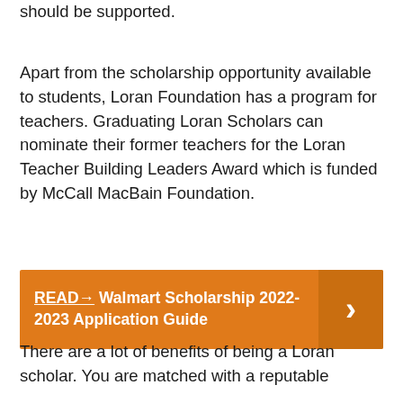should be supported.
Apart from the scholarship opportunity available to students, Loran Foundation has a program for teachers. Graduating Loran Scholars can nominate their former teachers for the Loran Teacher Building Leaders Award which is funded by McCall MacBain Foundation.
[Figure (infographic): Orange call-to-action banner reading: READ→ Walmart Scholarship 2022-2023 Application Guide with a right-pointing chevron arrow on a darker orange panel on the right side.]
There are a lot of benefits of being a Loran scholar. You are matched with a reputable